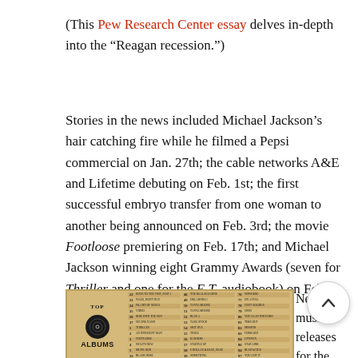(This Pew Research Center essay delves in-depth into the “Reagan recession.”)
Stories in the news included Michael Jackson’s hair catching fire while he filmed a Pepsi commercial on Jan. 27th; the cable networks A&E and Lifetime debuting on Feb. 1st; the first successful embryo transfer from one woman to another being announced on Feb. 3rd; the movie Footloose premiering on Feb. 17th; and Michael Jackson winning eight Grammy Awards (seven for Thriller and one for the E.T. audiobook) on Feb. 28th.
[Figure (photo): A Top Albums chart list showing rankings with song/album titles and artists listed in rows across multiple columns on a tan/brown background]
New music releases for the month included Footloose soundtrack; The...